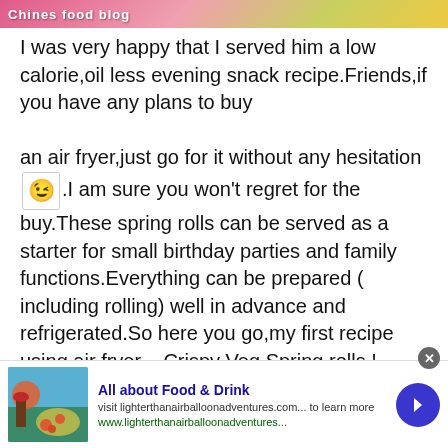[Figure (photo): Top banner image with pink and yellow colors, partially visible food blog header text]
I was very happy that I served him a low calorie,oil less evening snack recipe.Friends,if you have any plans to buy an air fryer,just go for it without any hesitation 😉.I am sure you won't regret for the buy.These spring rolls can be served as a starter for small birthday parties and family functions.Everything can be prepared ( including rolling) well in advance and refrigerated.So here you go,my first recipe using air fryer – Crispy Veg Spring rolls !
[Figure (infographic): Advertisement banner: All about Food & Drink - visit lighterthanairballoonadventures.com... to learn more, with food photo and navigation arrow]